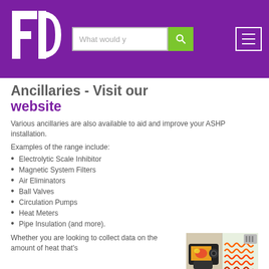FD logo with search bar and navigation menu
Ancillaries - Visit our website
Various ancillaries are also available to aid and improve your ASHP installation.
Examples of the range include:
Electrolytic Scale Inhibitor
Magnetic System Filters
Air Eliminators
Ball Valves
Circulation Pumps
Heat Meters
Pipe Insulation (and more).
Whether you are looking to collect data on the amount of heat that's
[Figure (photo): Two images: a thermal imaging camera device and an underfloor heating system installation]